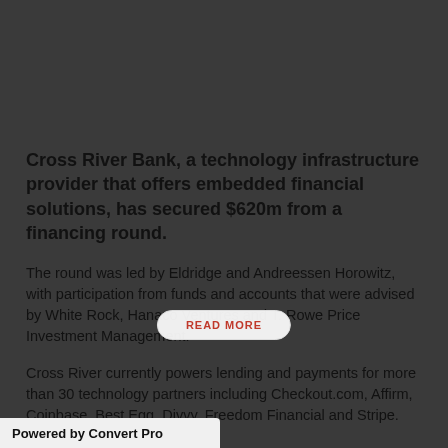Cross River Bank, a technology infrastructure provider that offers embedded financial solutions, has secured $620m from a financing round.
The round was led by Eldridge and Andreessen Horowitz, with participation from funds and accounts that were advised by White Rock, Hanaco Ventures and T. Rowe Price Investment Management.
Cross River currently powers lending and payments for more than 30 technology partners including Checkout.com, Affirm, Coinbase, Best Egg, Divvy, Freedom Financial and Stripe. The
READ MORE
Powered by Convert Pro